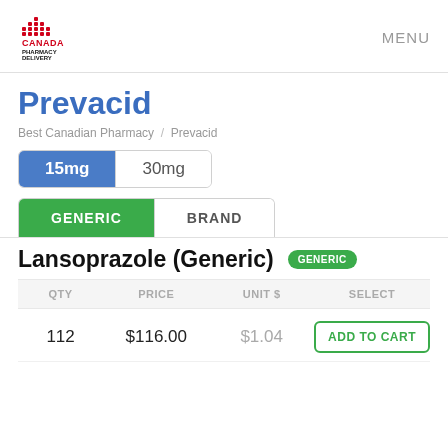[Figure (logo): Canada Pharmacy Delivery logo with red bar chart icon and black text]
MENU
Prevacid
Best Canadian Pharmacy / Prevacid
15mg  30mg
GENERIC  BRAND
Lansoprazole (Generic)  GENERIC
| QTY | PRICE | UNIT $ | SELECT |
| --- | --- | --- | --- |
| 112 | $116.00 | $1.04 | ADD TO CART |